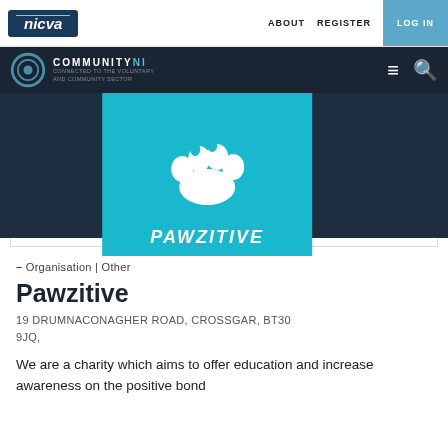nicva  ABOUT  REGISTER  LOG IN
COMMUNITY NI  [hamburger menu] [search]
[Figure (logo): Pawzitive charity logo on cyan/teal background with white paw print graphic and italic text PAWZITIVE]
– Organisation | Other
Pawzitive
19 DRUMNACONAGHER ROAD, CROSSGAR, BT30 9JQ,
We are a charity which aims to offer education and increase awareness on the positive bond